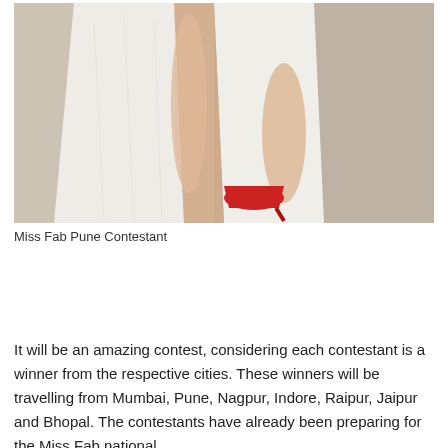[Figure (photo): A woman in a white lace dress bending down, wearing red high heels, against a beige/cream wall background. Only the lower body is visible.]
Miss Fab Pune Contestant
It will be an amazing contest, considering each contestant is a winner from the respective cities. These winners will be travelling from Mumbai, Pune, Nagpur, Indore, Raipur, Jaipur and Bhopal. The contestants have already been preparing for the Miss Fab national